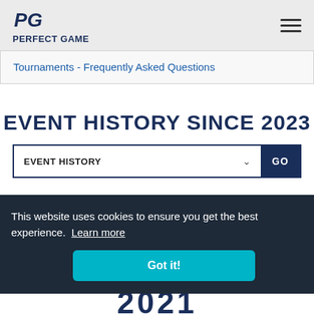PERFECT GAME
Tournaments - Frequently Asked Questions
EVENT HISTORY SINCE 2023
EVENT HISTORY
GO
This website uses cookies to ensure you get the best experience. Learn more
Got it!